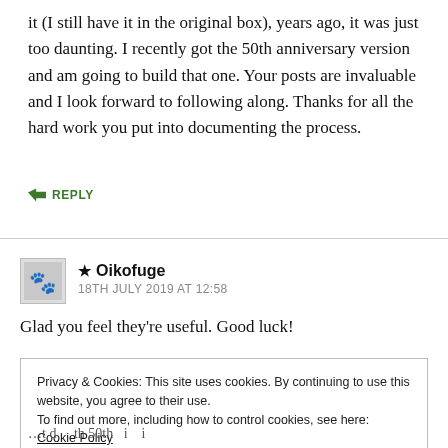it (I still have it in the original box), years ago, it was just too daunting. I recently got the 50th anniversary version and am going to build that one. Your posts are invaluable and I look forward to following along. Thanks for all the hard work you put into documenting the process.
↳ REPLY
★ Oikofuge
18TH JULY 2019 AT 12:58
Glad you feel they're useful. Good luck!
Privacy & Cookies: This site uses cookies. By continuing to use this website, you agree to their use.
To find out more, including how to control cookies, see here: Cookie Policy
Accept & Close
...t d th 50th i i